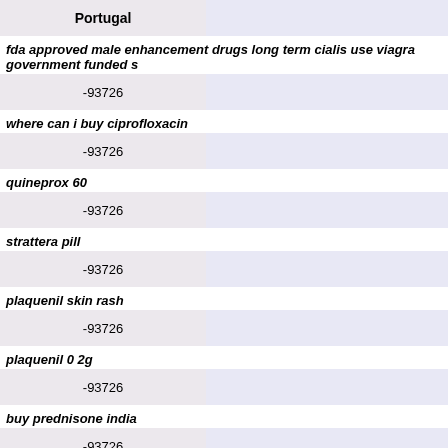| Portugal |  |
| --- | --- |
| fda approved male enhancement drugs long term cialis use viagra government funded s |  |
| -93726 |  |
| where can i buy ciprofloxacin |  |
| -93726 |  |
| quineprox 60 |  |
| -93726 |  |
| strattera pill |  |
| -93726 |  |
| plaquenil skin rash |  |
| -93726 |  |
| plaquenil 0 2g |  |
| -93726 |  |
| buy prednisone india |  |
| -93726 |  |
| ivermectin 50mg/ml |  |
| -93726 |  |
| lisinopril 2.5 mg |  |